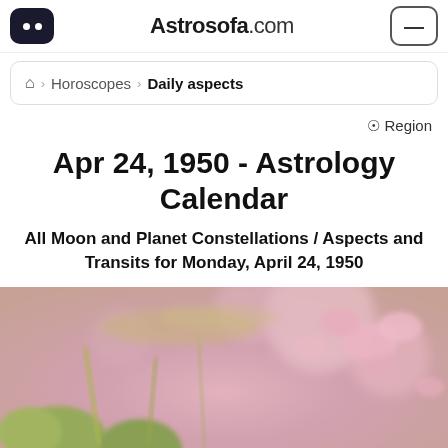Astrosofa.com
Horoscopes > Daily aspects
Region
Apr 24, 1950 - Astrology Calendar
All Moon and Planet Constellations / Aspects and Transits for Monday, April 24, 1950
[Figure (photo): Blurred macro photo of pink spring flowers and round green buds with soft bokeh background in pink and beige tones.]